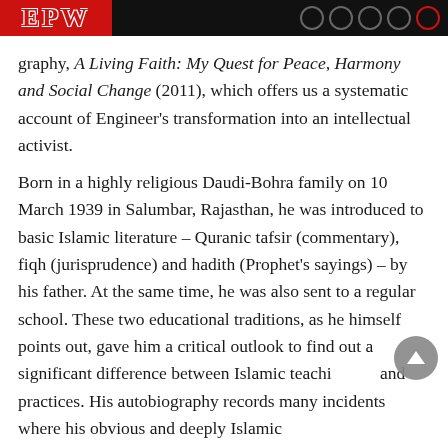EPW
graphy, A Living Faith: My Quest for Peace, Harmony and Social Change (2011), which offers us a systematic account of Engineer’s transformation into an intellectual activist.
Born in a highly religious Daudi-Bohra family on 10 March 1939 in Salumbar, Rajasthan, he was introduced to basic Islamic literature – Quranic tafsir (commentary), fiqh (jurisprudence) and hadith (Prophet’s sayings) – by his father. At the same time, he was also sent to a regular school. These two educational traditions, as he himself points out, gave him a critical outlook to find out a significant difference between Islamic teaching and practices. His autobiography records many incidents where his obvious and deeply Islamic